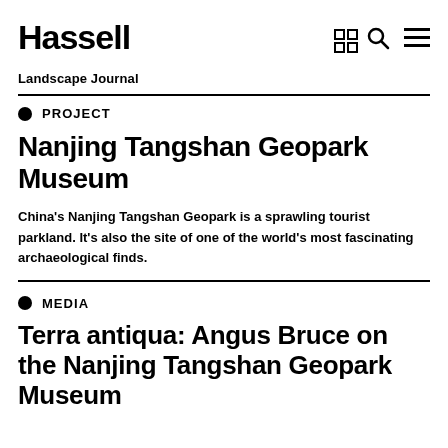Hassell
Landscape Journal
PROJECT
Nanjing Tangshan Geopark Museum
China's Nanjing Tangshan Geopark is a sprawling tourist parkland. It's also the site of one of the world's most fascinating archaeological finds.
MEDIA
Terra antiqua: Angus Bruce on the Nanjing Tangshan Geopark Museum